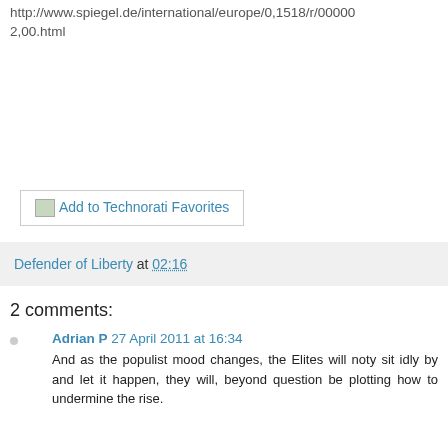http://www.spiegel.de/international/europe/0,1518/r/0000 2,00.html
[Figure (other): Add to Technorati Favorites button with broken image icon]
Defender of Liberty at 02:16
2 comments:
Adrian P  27 April 2011 at 16:34
And as the populist mood changes, the Elites will noty sit idly by and let it happen, they will, beyond question be plotting how to undermine the rise.